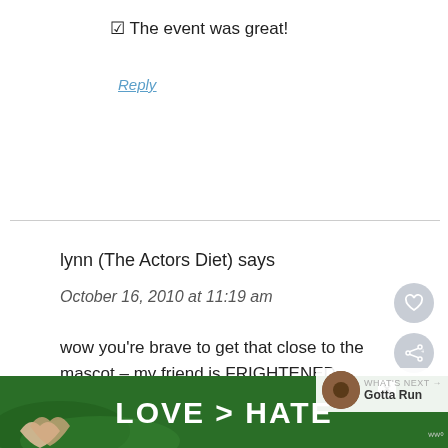☑ The event was great!
Reply
lynn (The Actors Diet) says
October 16, 2010 at 11:19 am
wow you're brave to get that close to the mascot – my friend is FRIGHTENED anything with a costume head. she got married at the Phillies baseball field and
[Figure (infographic): Advertisement banner reading LOVE > HATE with heart hands image on green background]